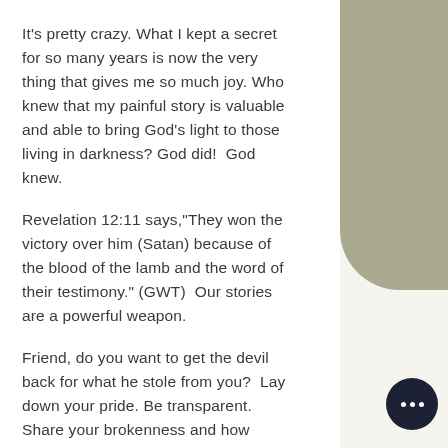It's pretty crazy. What I kept a secret for so many years is now the very thing that gives me so much joy. Who knew that my painful story is valuable and able to bring God's light to those living in darkness? God did!  God knew.
Revelation 12:11 says,"They won the victory over him (Satan) because of the blood of the lamb and the word of their testimony." (GWT)  Our stories are a powerful weapon.
Friend, do you want to get the devil back for what he stole from you?  Lay down your pride. Be transparent. Share your brokenness and how Jesus rescued you. Tell your story. This is one way to